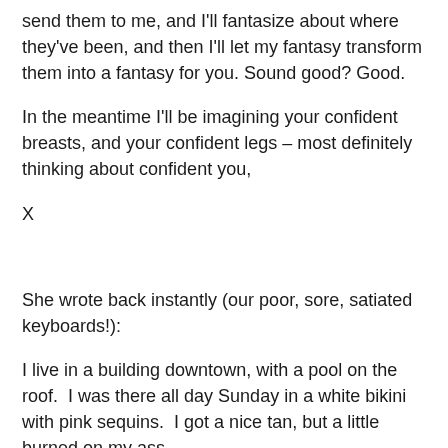send them to me, and I'll fantasize about where they've been, and then I'll let my fantasy transform them into a fantasy for you. Sound good? Good.
In the meantime I'll be imagining your confident breasts, and your confident legs – most definitely thinking about confident you,
X
She wrote back instantly (our poor, sore, satiated keyboards!):
I live in a building downtown, with a pool on the roof.  I was there all day Sunday in a white bikini with pink sequins.  I got a nice tan, but a little burned on my ass.
I am 5'4" but always wear heels, and people are always